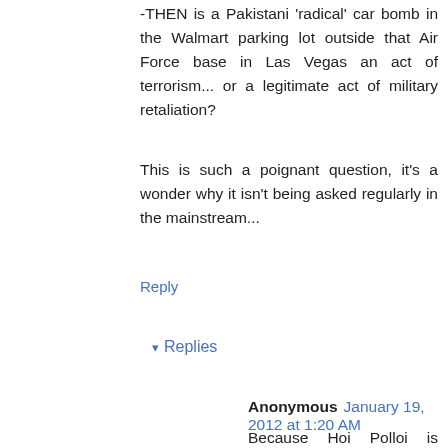-THEN is a Pakistani 'radical' car bomb in the Walmart parking lot outside that Air Force base in Las Vegas an act of terrorism... or a legitimate act of military retaliation?
This is such a poignant question, it's a wonder why it isn't being asked regularly in the mainstream...
Reply
▾ Replies
Anonymous January 19, 2012 at 1:20 AM
Because Hoi Polloi is brainwashed. We kill them; righteous war. They kill us; savage terrorists. If Hoi Polloi actually realized the truth it would $hit it's pants.
Reply
Anonymous December 7, 2011 at 10:34 AM
Obviously 9:54, it's because not enough people at the